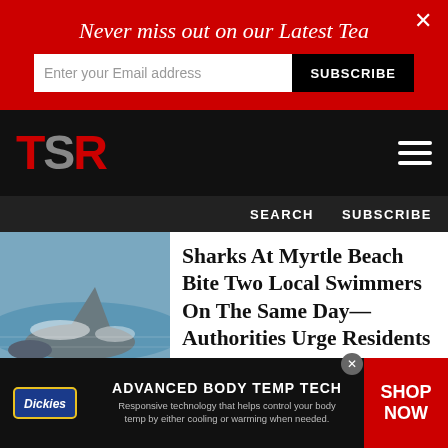Never miss out on our Latest Tea
Enter your Email address
SUBSCRIBE
[Figure (logo): TSR logo in red and gray letters on black background]
SEARCH  SUBSCRIBE
Sharks At Myrtle Beach Bite Two Local Swimmers On The Same Day—Authorities Urge Residents To Be On High-Alert
[Figure (photo): Shark fin and body visible at ocean surface with splashing water]
News & Politics
[Figure (photo): Partial view of second article image with orange/amber tones]
ADVANCED BODY TEMP TECH
Responsive technology that helps control your body temp by either cooling or warming when needed.
SHOP NOW